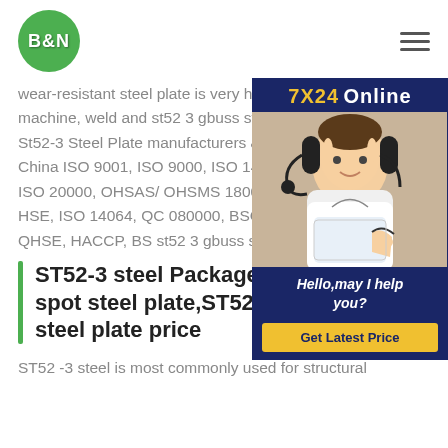B&N logo and navigation
wear-resistant steel plate is very high, machine, weld and st52 3 gbuss steel plate St52-3 Steel Plate manufacturers & su China ISO 9001, ISO 9000, ISO 14001 ISO 20000, OHSAS/ OHSMS 18001, I HSE, ISO 14064, QC 080000, BSCI, B QHSE, HACCP, BS st52 3 gbuss steel
[Figure (illustration): Customer service representative chat widget with 7X24 Online banner, photo of woman with headset, Hello,may I help you? text and Get Latest Price button]
ST52-3 steel Package,ST52-3 steel spot steel plate,ST52-3 st52 3 gbuss steel plate price
ST52 -3 steel is most commonly used for structural